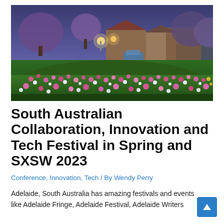[Figure (photo): Aerial ground-level view of a lush garden with pink and white wildflowers in the foreground and historic buildings, jacaranda trees, and street lights visible in the background at dusk]
South Australian Collaboration, Innovation and Tech Festival in Spring and SXSW 2023
Conference, Innovation, Tech / By Wendy Perry
Adelaide, South Australia has amazing festivals and events like Adelaide Fringe, Adelaide Festival, Adelaide Writers